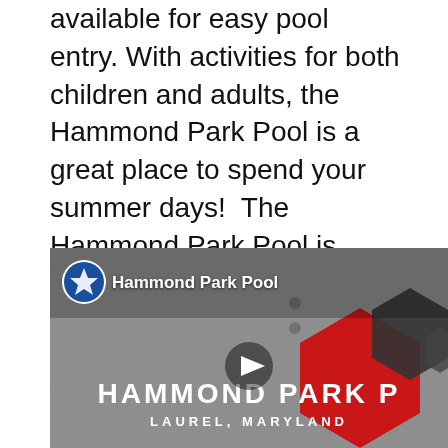available for easy pool entry. With activities for both children and adults, the Hammond Park Pool is a great place to spend your summer days!  The Hammond Park Pool is open from Memorial Day through Labor Day, check Hours Here.
[Figure (screenshot): Video thumbnail for Hammond Park Pool showing a concrete wall with large red and dark gray hexagonal umbrella shapes and the text 'HAMMOND PARK P' and 'LAUREL, MARYLAND' with a play button in the center. Channel icon and 'Hammond Park Pool' label visible in top left.]